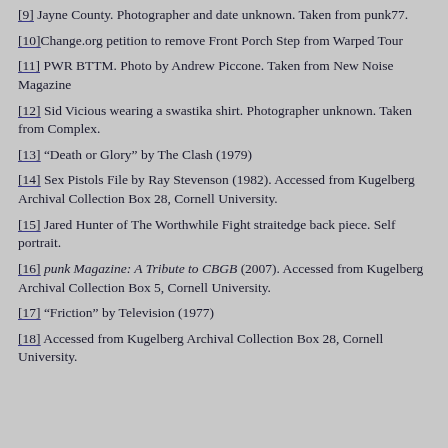[9] Jayne County. Photographer and date unknown. Taken from punk77.
[10] Change.org petition to remove Front Porch Step from Warped Tour
[11] PWR BTTM. Photo by Andrew Piccone. Taken from New Noise Magazine
[12] Sid Vicious wearing a swastika shirt. Photographer unknown. Taken from Complex.
[13] "Death or Glory" by The Clash (1979)
[14] Sex Pistols File by Ray Stevenson (1982). Accessed from Kugelberg Archival Collection Box 28, Cornell University.
[15] Jared Hunter of The Worthwhile Fight straitedge back piece. Self portrait.
[16] punk Magazine: A Tribute to CBGB (2007). Accessed from Kugelberg Archival Collection Box 5, Cornell University.
[17] "Friction" by Television (1977)
[18] Accessed from Kugelberg Archival Collection Box 28, Cornell University.